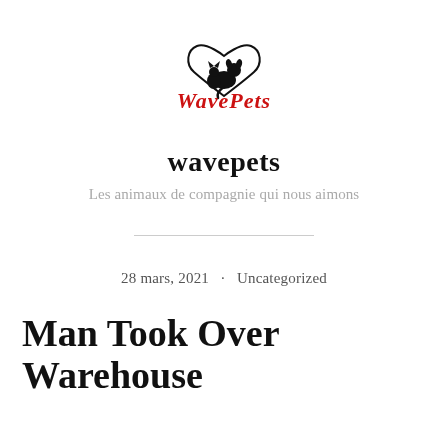[Figure (logo): WavePets logo: a heart outline with silhouette of a cat and dog inside, with red cursive text 'WavePets' below]
wavepets
Les animaux de compagnie qui nous aimons
28 mars, 2021  ·  Uncategorized
Man Took Over Warehouse